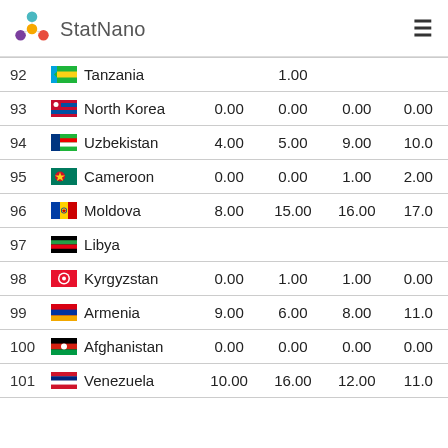StatNano
| # | Country | Col1 | Col2 | Col3 | Col4 |
| --- | --- | --- | --- | --- | --- |
| 92 | Tanzania |  | 1.00 |  |  |
| 93 | North Korea | 0.00 | 0.00 | 0.00 | 0.00 |
| 94 | Uzbekistan | 4.00 | 5.00 | 9.00 | 10.0 |
| 95 | Cameroon | 0.00 | 0.00 | 1.00 | 2.00 |
| 96 | Moldova | 8.00 | 15.00 | 16.00 | 17.0 |
| 97 | Libya |  |  |  |  |
| 98 | Kyrgyzstan | 0.00 | 1.00 | 1.00 | 0.00 |
| 99 | Armenia | 9.00 | 6.00 | 8.00 | 11.0 |
| 100 | Afghanistan | 0.00 | 0.00 | 0.00 | 0.00 |
| 101 | Venezuela | 10.00 | 16.00 | 12.00 | 11.0 |